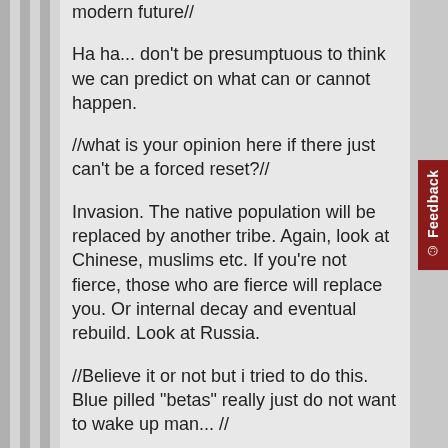modern future//
Ha ha... don't be presumptuous to think we can predict on what can or cannot happen.
//what is your opinion here if there just can't be a forced reset?//
Invasion. The native population will be replaced by another tribe. Again, look at Chinese, muslims etc. If you're not fierce, those who are fierce will replace you. Or internal decay and eventual rebuild. Look at Russia.
//Believe it or not but i tried to do this. Blue pilled "betas" really just do not want to wake up man... //
Do not help people who don't deserve it in one way or another. It has to be clear that they will be grateful that you helped them or they ask for it in one way or another.